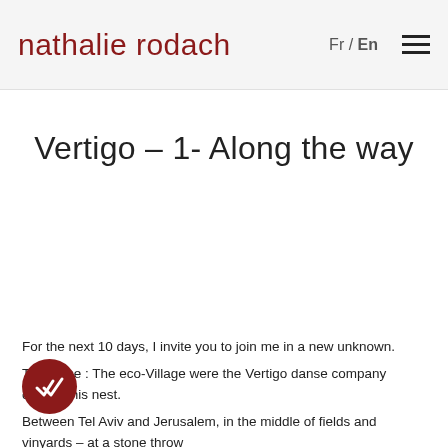nathalie rodach   Fr / En
Vertigo – 1- Along the way
For the next 10 days, I invite you to join me in a new unknown.
The place : The eco-Village were the Vertigo danse company created his nest.
Between Tel Aviv and Jerusalem, in the middle of fields and vinyards – at a stone throw
[Figure (logo): Dark red circular badge with double checkmark icon (read/delivered indicator)]